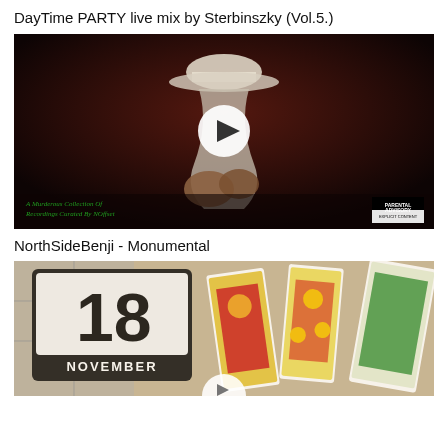DayTime PARTY live mix by Sterbinszky (Vol.5.)
[Figure (photo): Dark music album artwork showing a figure in a hat with a play button overlay, text 'A Murderous Collection Of Recordings Curated By NOffset' and Parental Advisory label]
NorthSideBenji - Monumental
[Figure (photo): Photo showing a calendar block displaying '18 NOVEMBER' alongside tarot or colorful illustrated cards spread on a surface, with a partial play button at bottom]